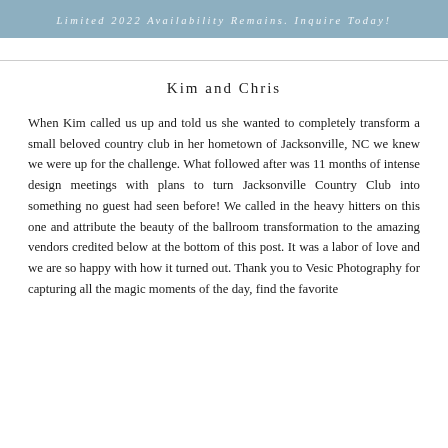Limited 2022 Availability Remains. Inquire Today!
Kim and Chris
When Kim called us up and told us she wanted to completely transform a small beloved country club in her hometown of Jacksonville, NC we knew we were up for the challenge. What followed after was 11 months of intense design meetings with plans to turn Jacksonville Country Club into something no guest had seen before! We called in the heavy hitters on this one and attribute the beauty of the ballroom transformation to the amazing vendors credited below at the bottom of this post. It was a labor of love and we are so happy with how it turned out. Thank you to Vesic Photography for capturing all the magic moments of the day. find the faurite...